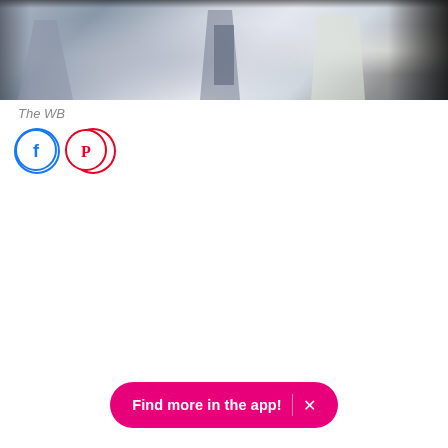[Figure (photo): Partial view of a scene, likely from a TV show or movie (The WB), showing blurred figures in a dim setting with grey/blue tones]
The WB
[Figure (other): Social sharing icons: Facebook (blue circle) and Pinterest (red circle)]
Find more in the app!